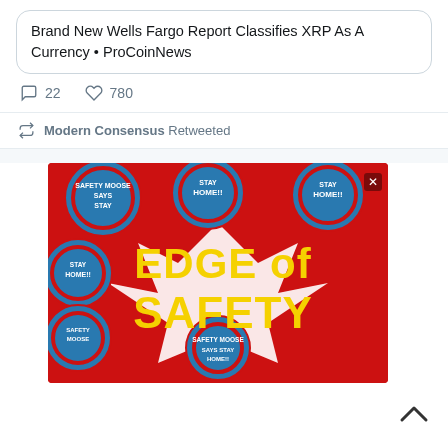Brand New Wells Fargo Report Classifies XRP As A Currency • ProCoinNews
22 comments, 780 likes
Modern Consensus Retweeted
[Figure (photo): Advertisement image showing colorful cartoon graphics with text 'EDGE OF SAFETY' in large yellow letters on a red background, with circular badges featuring a cartoon moose and text 'STAY HOME!!' and 'SAFETY MOOSE SAYS STAY HOME!!']